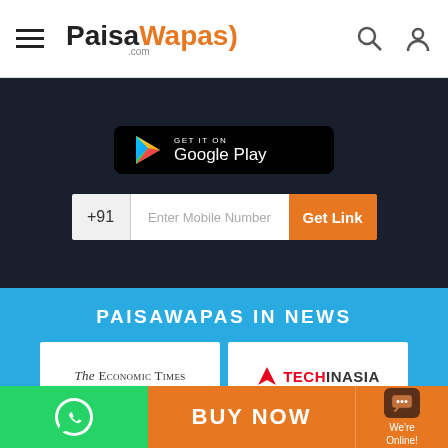PaisaWapas.com — navigation header with hamburger menu, logo, search and user icons
[Figure (screenshot): Google Play Store download button on dark background]
[Figure (screenshot): Mobile number entry field with +91 prefix, Enter Mobile Number placeholder, and Get Link orange button]
PAISAWAPAS IN NEWS
[Figure (logo): The Economic Times logo]
[Figure (logo): Tech in Asia logo]
[Figure (logo): VCCircle logo]
[Figure (logo): YourStory logo]
[Figure (screenshot): Bottom bar with WhatsApp icon (green), BUY NOW (orange), and We're Online chat widget (brown/orange)]